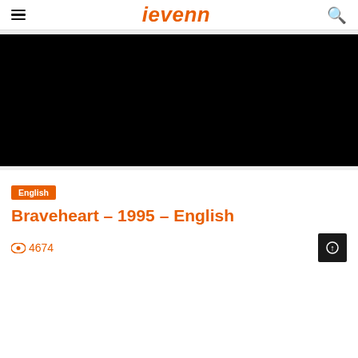ievenn
[Figure (screenshot): Black video player area embedded in a light gray band]
English
Braveheart – 1995 – English
4674 views